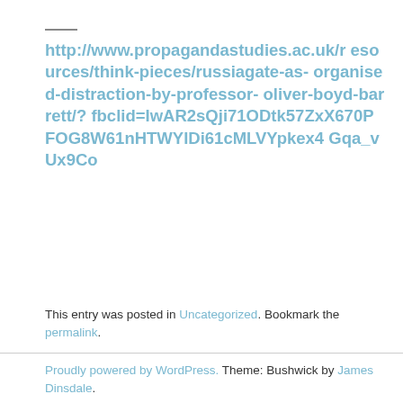http://www.propagandastudies.ac.uk/resources/think-pieces/russiagate-as-organised-distraction-by-professor-oliver-boyd-barrett/?fbclid=IwAR2sQji71ODtk57ZxX670PFoG8W61nHTWYIDi61cMLVYpkex4Gqa_vUx9Co
This entry was posted in Uncategorized. Bookmark the permalink.
Proudly powered by WordPress. Theme: Bushwick by James Dinsdale.